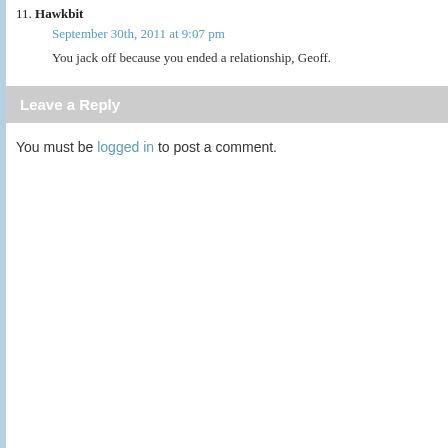11. Hawkbit
September 30th, 2011 at 9:07 pm
You jack off because you ended a relationship, Geoff.
Leave a Reply
You must be logged in to post a comment.